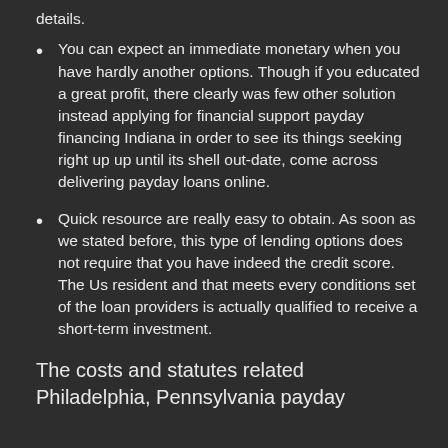details.
You can expect an immediate monetary when you have hardly another options. Though if you educated a great profit, there clearly was few other solution instead applying for financial support payday financing Indiana in order to see its things seeking right up up until its shell out-date, come across delivering payday loans online.
Quick resource are really easy to obtain. As soon as we stated before, this type of lending options does not require that you have indeed the credit score. The Us resident and that meets every conditions set of the loan providers is actually qualified to receive a short-term investment.
The costs and statutes related Philadelphia, Pennsylvania payday